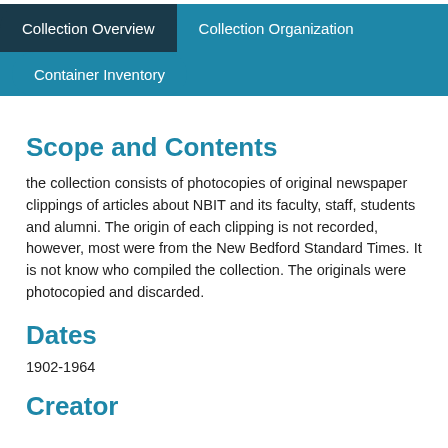Collection Overview | Collection Organization | Container Inventory
Scope and Contents
the collection consists of photocopies of original newspaper clippings of articles about NBIT and its faculty, staff, students and alumni. The origin of each clipping is not recorded, however, most were from the New Bedford Standard Times. It is not know who compiled the collection. The originals were photocopied and discarded.
Dates
1902-1964
Creator